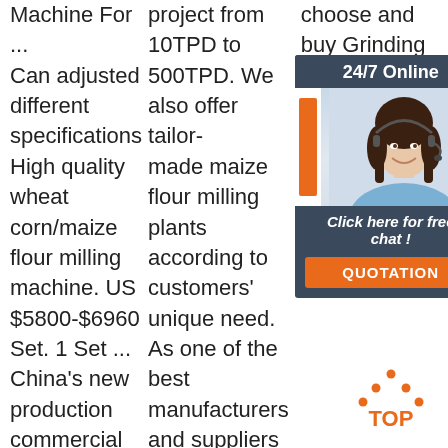Machine For ... Can adjusted different specifications High quality wheat corn/maize flour milling machine. US $5800-$6960 Set. 1 Set ... China's new production commercial flour stone mill specification milling machine
project from 10TPD to 500TPD. We also offer tailor-made maize flour milling plants according to customers' unique need. As one of the best manufacturers and suppliers in the field of flour milling in China, we can
choose and buy Grinding Machines today!
[Figure (infographic): 24/7 Online chat widget with woman wearing headset, orange accent bar, 'Click here for free chat!' CTA text and orange QUOTATION button]
[Figure (illustration): TOP icon with orange dotted triangle and orange text reading TOP]